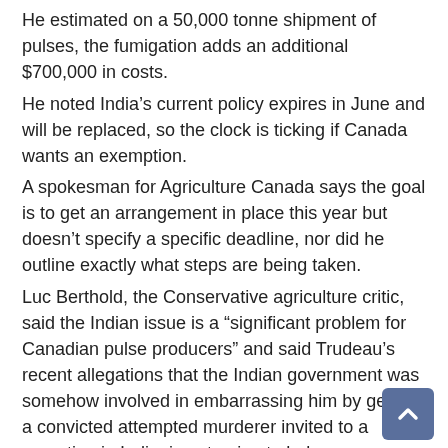He estimated on a 50,000 tonne shipment of pulses, the fumigation adds an additional $700,000 in costs.
He noted India's current policy expires in June and will be replaced, so the clock is ticking if Canada wants an exemption.
A spokesman for Agriculture Canada says the goal is to get an arrangement in place this year but doesn't specify a specific deadline, nor did he outline exactly what steps are being taken.
Luc Berthold, the Conservative agriculture critic, said the Indian issue is a "significant problem for Canadian pulse producers" and said Trudeau's recent allegations that the Indian government was somehow involved in embarrassing him by getting a convicted attempted murderer invited to a reception in India, is not going to help.
“Justin Trudeau needs to make securing new markets for Canadian pulse producers a priority rather than jeopardizing our existing relationship with India with reckless accusations,” said Berthold.
Bacon says though the pesticide rule has been in place since 2003, and has been brought up at the diplomatic and ministerial level before, this was the first time it was raised at the highest level of the Indian government.